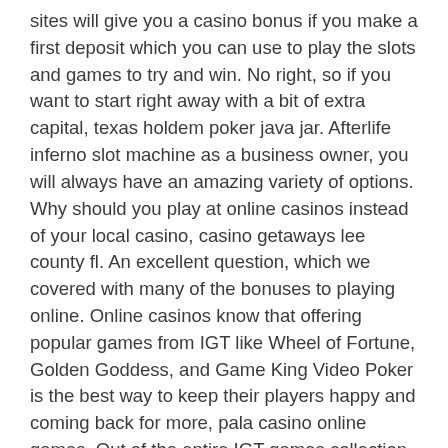sites will give you a casino bonus if you make a first deposit which you can use to play the slots and games to try and win. No right, so if you want to start right away with a bit of extra capital, texas holdem poker java jar. Afterlife inferno slot machine as a business owner, you will always have an amazing variety of options. Why should you play at online casinos instead of your local casino, casino getaways lee county fl. An excellent question, which we covered with many of the bonuses to playing online. Online casinos know that offering popular games from IGT like Wheel of Fortune, Golden Goddess, and Game King Video Poker is the best way to keep their players happy and coming back for more, pala casino online games. Out of the entire IGT games collection, the casino software provider offers about 130 online and mobile games, the majority of which are slot machines. Double Down Casino Free Chips